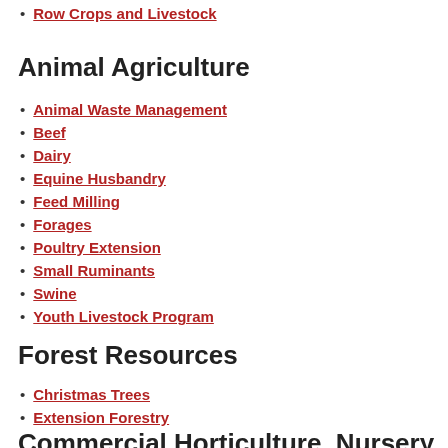Row Crops and Livestock
Animal Agriculture
Animal Waste Management
Beef
Dairy
Equine Husbandry
Feed Milling
Forages
Poultry Extension
Small Ruminants
Swine
Youth Livestock Program
Forest Resources
Christmas Trees
Extension Forestry
Commercial Horticulture, Nursery & Turf